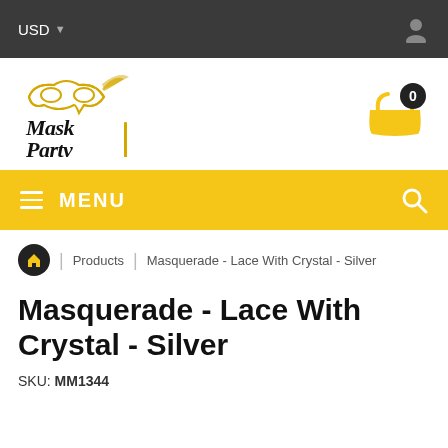USD
[Figure (logo): Mask Party logo with decorative masquerade mask illustration in gold/yellow and black cursive text reading Mask Party]
[Figure (other): Shopping cart icon in gold/yellow with black circle badge showing count 0]
MENU
Home | Products | Masquerade - Lace With Crystal - Silver
Masquerade - Lace With Crystal - Silver
SKU: MM1344